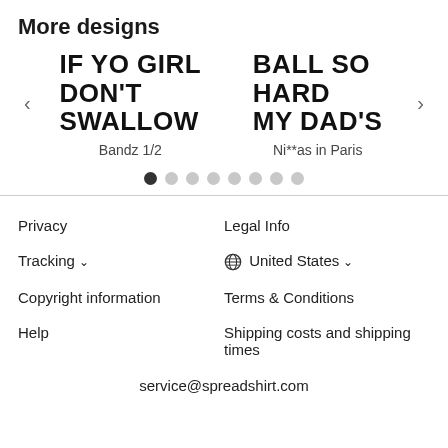More designs
[Figure (other): Carousel showing two shirt designs: 'IF YO GIRL DON'T SWALLOW' labeled 'Bandz 1/2' and 'BALL SO HARD MY DAD'S' labeled 'Ni**as in Paris', with left/right navigation arrows and pagination dots]
Privacy
Legal Info
Tracking ∨
🌐 United States ∨
Copyright information
Terms & Conditions
Help
Shipping costs and shipping times
service@spreadshirt.com